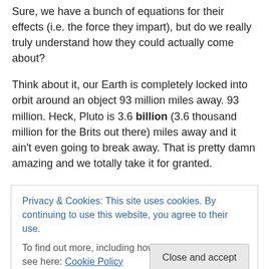Sure, we have a bunch of equations for their effects (i.e. the force they impart), but do we really truly understand how they could actually come about?
Think about it, our Earth is completely locked into orbit around an object 93 million miles away. 93 million. Heck, Pluto is 3.6 billion (3.6 thousand million for the Brits out there) miles away and it ain't even going to break away. That is pretty damn amazing and we totally take it for granted.
One of the more entertaining things to do for us simple-
Privacy & Cookies: This site uses cookies. By continuing to use this website, you agree to their use.
To find out more, including how to control cookies, see here: Cookie Policy
Kids play with magnets from the youngest age, and it's